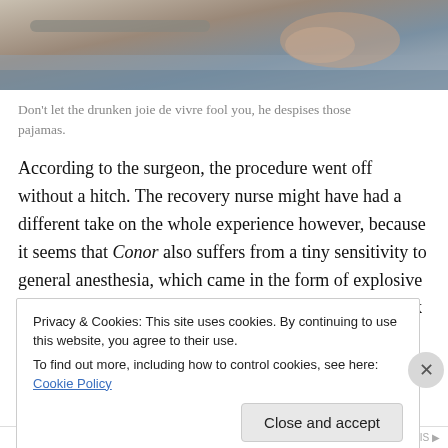[Figure (photo): Photo of a patient (likely a cat or dog) in a veterinary or medical setting, lying on what appears to be an exam table or bed with blue padding, wearing patterned clothing]
Don't let the drunken joie de vivre fool you, he despises those pajamas.
According to the surgeon, the procedure went off without a hitch. The recovery nurse might have had a different take on the whole experience however, because it seems that Conor also suffers from a tiny sensitivity to general anesthesia, which came in the form of explosive diarrhea and an intense desire to roll around in it. Thank God, Hubs
Privacy & Cookies: This site uses cookies. By continuing to use this website, you agree to their use.
To find out more, including how to control cookies, see here: Cookie Policy
Close and accept